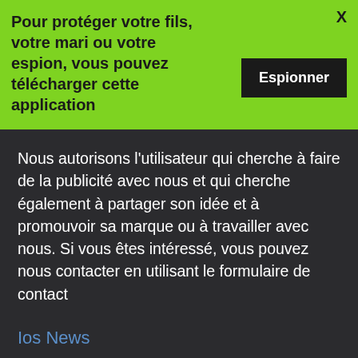[Figure (screenshot): Green advertisement banner with bold text 'Pour protéger votre fils, votre mari ou votre espion, vous pouvez télécharger cette application', a black 'Espionner' button, and an X close button.]
Nous autorisons l'utilisateur qui cherche à faire de la publicité avec nous et qui cherche également à partager son idée et à promouvoir sa marque ou à travailler avec nous. Si vous êtes intéressé, vous pouvez nous contacter en utilisant le formulaire de contact
Ios News
Les 3 meilleures façons de supprimer les